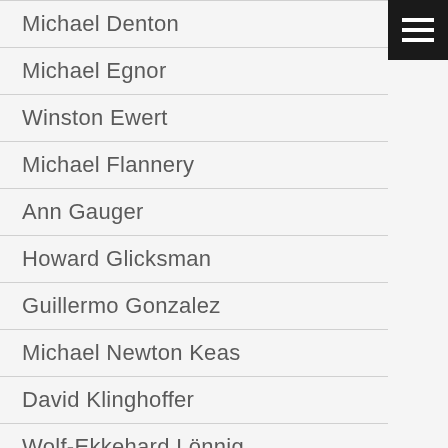Michael Denton
Michael Egnor
Winston Ewert
Michael Flannery
Ann Gauger
Howard Glicksman
Guillermo Gonzalez
Michael Newton Keas
David Klinghoffer
Wolf-Ekkehard Lönnig